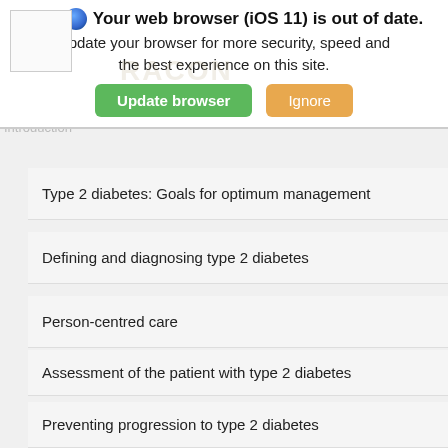[Figure (screenshot): Browser update notification banner with globe icon, bold heading 'Your web browser (iOS 11) is out of date.', subtitle 'Update your browser for more security, speed and the best experience on this site.', green 'Update browser' button and tan 'Ignore' button. A small empty box appears at top-left of the banner.]
Type 2 diabetes: Goals for optimum management
Defining and diagnosing type 2 diabetes
Person-centred care
Assessment of the patient with type 2 diabetes
Preventing progression to type 2 diabetes
Early-onset type 2 diabetes
Lifestyle interventions for management of type 2 diabe…
Glucose monitoring